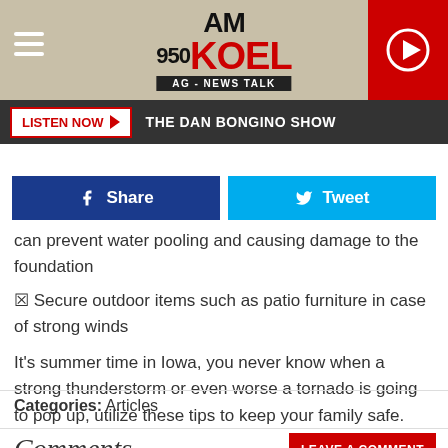AM 950 KOEL - AG NEWS TALK
LISTEN NOW ▶  THE DAN BONGINO SHOW
[Figure (screenshot): Share and Tweet social media buttons]
can prevent water pooling and causing damage to the foundation
🔲 Secure outdoor items such as patio furniture in case of strong winds
It's summer time in Iowa, you never know when a strong thunderstorm or even worse a tornado is going to pop up, utilize these tips to keep your family safe.
Categories: Articles
Comments
LEAVE A COMMENT